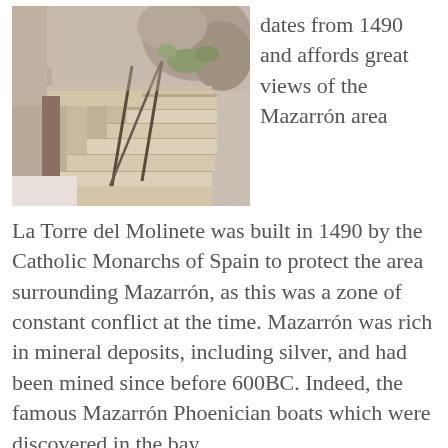[Figure (photo): Stone staircase with metal railing built into rocky terrain, showing ancient stone steps ascending along a rocky hillside with vegetation in background]
dates from 1490 and affords great views of the Mazarrón area
La Torre del Molinete was built in 1490 by the Catholic Monarchs of Spain to protect the area surrounding Mazarrón, as this was a zone of constant conflict at the time. Mazarrón was rich in mineral deposits, including silver, and had been mined since before 600BC. Indeed, the famous Mazarrón Phoenician boats which were discovered in the bay..